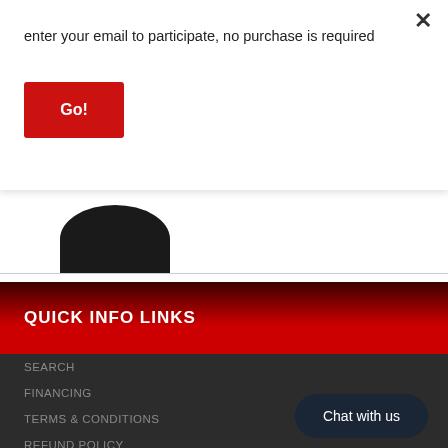enter your email to participate, no purchase is required
Go!
[Figure (photo): Partial product image (dark circular object) visible at bottom of a white card area]
QUICK INFO LINKS
SEARCH
FINANCING
TERMS & CONDITIONS
REFUND POLICY
PRIVACY POLICY
RETURN POLICY & SHIPPING TERMS
CONTACT US
Chat with us